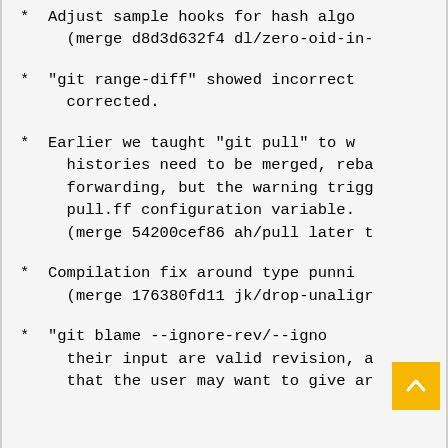* Adjust sample hooks for hash algo (merge d8d3d632f4 dl/zero-oid-in-
* "git range-diff" showed incorrect corrected.
* Earlier we taught "git pull" to w histories need to be merged, reba forwarding, but the warning trigg pull.ff configuration variable. (merge 54200cef86 ah/pull later t
* Compilation fix around type punni (merge 176380fd11 jk/drop-unaligr
* "git blame --ignore-rev/--igno their input are valid revision, a that the user may want to give ar